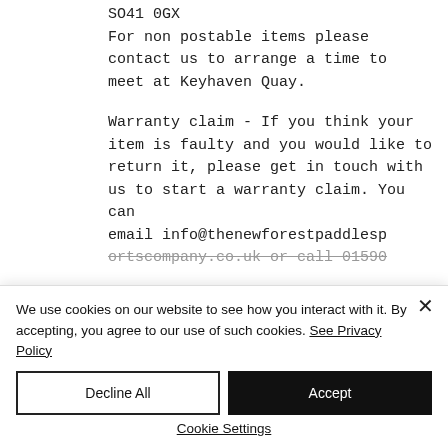SO41 0GX
For non postable items please contact us to arrange a time to meet at Keyhaven Quay.
Warranty claim - If you think your item is faulty and you would like to return it, please get in touch with us to start a warranty claim. You can email info@thenewforestpaddlesportscompany.co.uk or call 01590...
We use cookies on our website to see how you interact with it. By accepting, you agree to our use of such cookies. See Privacy Policy
Decline All
Accept
Cookie Settings